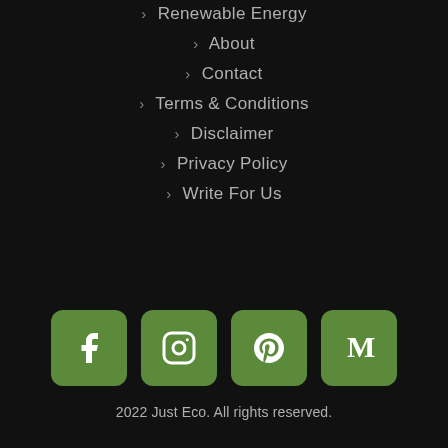> Renewable Energy
> About
> Contact
> Terms & Conditions
> Disclaimer
> Privacy Policy
> Write For Us
[Figure (infographic): Four green rounded-square social media icon buttons: Facebook, Instagram, Pinterest, Medium]
2022 Just Eco. All rights reserved.